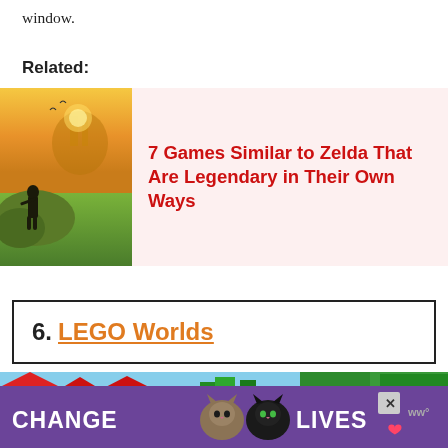window.
Related:
[Figure (photo): Related article card with Zelda Breath of the Wild game screenshot on the left and article title on the right with pink background]
7 Games Similar to Zelda That Are Legendary in Their Own Ways
6. LEGO Worlds
[Figure (screenshot): LEGO Worlds game screenshot showing colorful LEGO village with red roofs and green trees]
[Figure (photo): Advertisement banner with purple background saying CHANGE LIVES with cat images and close button]